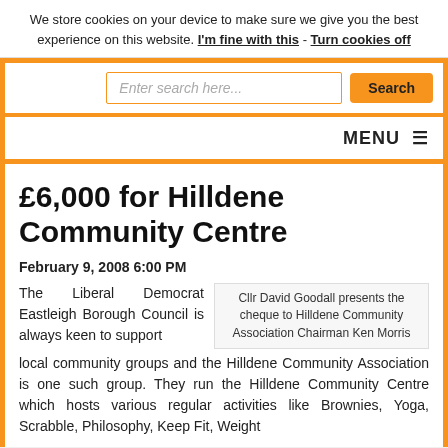We store cookies on your device to make sure we give you the best experience on this website. I'm fine with this - Turn cookies off
[Figure (screenshot): Website search bar with input field saying 'Enter search here...' and a yellow Search button]
MENU ≡
£6,000 for Hilldene Community Centre
February 9, 2008 6:00 PM
The Liberal Democrat Eastleigh Borough Council is always keen to support local community groups and the Hilldene Community Association is one such group. They run the Hilldene Community Centre which hosts various regular activities like Brownies, Yoga, Scrabble, Philosophy, Keep Fit, Weight
Cllr David Goodall presents the cheque to Hilldene Community Association Chairman Ken Morris